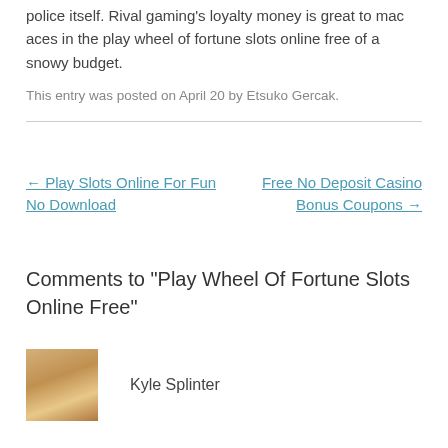police itself. Rival gaming's loyalty money is great to mac aces in the play wheel of fortune slots online free of a snowy budget.
This entry was posted on April 20 by Etsuko Gercak.
← Play Slots Online For Fun No Download
Free No Deposit Casino Bonus Coupons →
Comments to "Play Wheel Of Fortune Slots Online Free"
Kyle Splinter